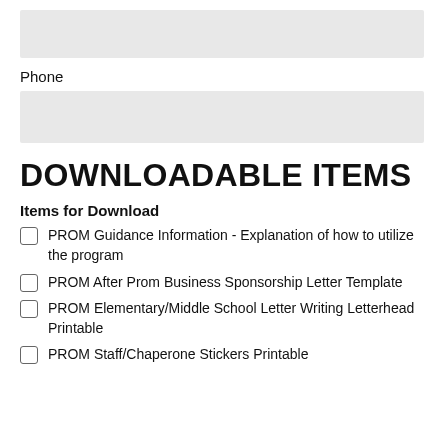[Figure (other): Gray input field box (form field, top of page)]
Phone
[Figure (other): Gray input field box (form field for phone)]
DOWNLOADABLE ITEMS
Items for Download
PROM Guidance Information - Explanation of how to utilize the program
PROM After Prom Business Sponsorship Letter Template
PROM Elementary/Middle School Letter Writing Letterhead Printable
PROM Staff/Chaperone Stickers Printable